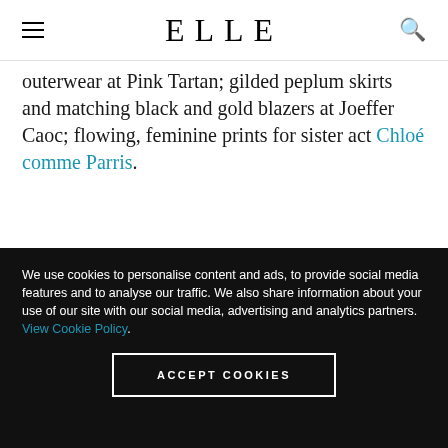ELLE
outerwear at Pink Tartan; gilded peplum skirts and matching black and gold blazers at Joeffer Caoc; flowing, feminine prints for sister act Chloé comme Parris.
We use cookies to personalise content and ads, to provide social media features and to analyse our traffic. We also share information about your use of our site with our social media, advertising and analytics partners. View Cookie Policy.
ACCEPT COOKIES